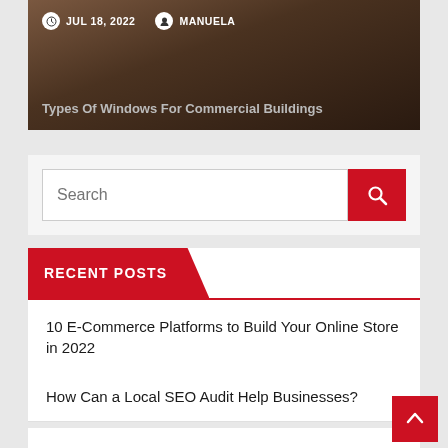[Figure (screenshot): Blog post card top with dark background, showing date 'JUL 18, 2022', author 'MANUELA', and title 'Types Of Windows For Commercial Buildings']
JUL 18, 2022
MANUELA
Types Of Windows For Commercial Buildings
Search
RECENT POSTS
10 E-Commerce Platforms to Build Your Online Store in 2022
How Can a Local SEO Audit Help Businesses?
Chips are down for Britain's fish and chip shops